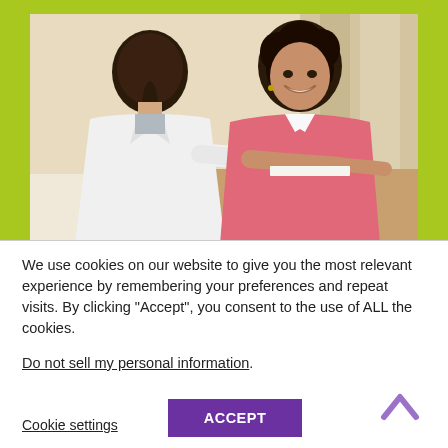[Figure (photo): A healthcare professional in a white coat (seen from behind) consulting with a smiling young woman in a pink top at a table. The background shows a clinical/office setting with beige walls and curtains.]
We use cookies on our website to give you the most relevant experience by remembering your preferences and repeat visits. By clicking “Accept”, you consent to the use of ALL the cookies.
Do not sell my personal information.
Cookie settings
ACCEPT